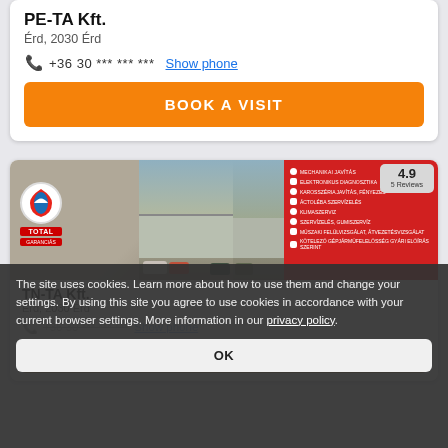PE-TA Kft.
Érd, 2030 Érd
+36 30 *** *** ***  Show phone
BOOK A VISIT
[Figure (photo): Photo of a Total-branded auto service center with cars in the parking lot and a red services panel showing a 4.9 rating from 5 reviews]
TN-TA...
Érd...
+36 30 *** *** ***  Show phone
BOOK A VISIT
The site uses cookies. Learn more about how to use them and change your settings. By using this site you agree to use cookies in accordance with your current browser settings. More information in our privacy policy.
OK